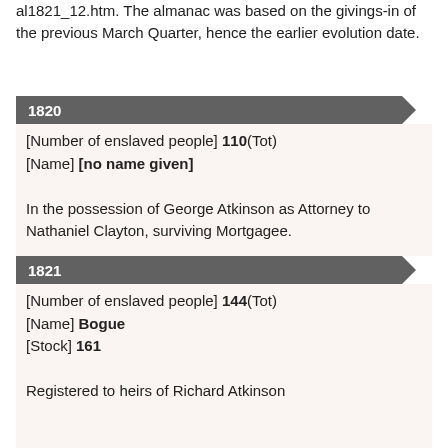al1821_12.htm. The almanac was based on the givings-in of the previous March Quarter, hence the earlier evolution date.
1820
[Number of enslaved people] 110(Tot)
[Name] [no name given]

In the possession of George Atkinson as Attorney to Nathaniel Clayton, surviving Mortgagee.

T71/206 105-106
1821
[Number of enslaved people] 144(Tot)
[Name] Bogue
[Stock] 161

Registered to heirs of Richard Atkinson